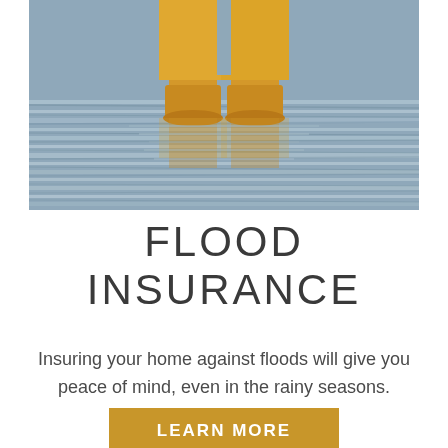[Figure (photo): Person wearing yellow rain boots and pants standing in flood water, with rippling reflections visible on the water surface.]
FLOOD INSURANCE
Insuring your home against floods will give you peace of mind, even in the rainy seasons.
LEARN MORE